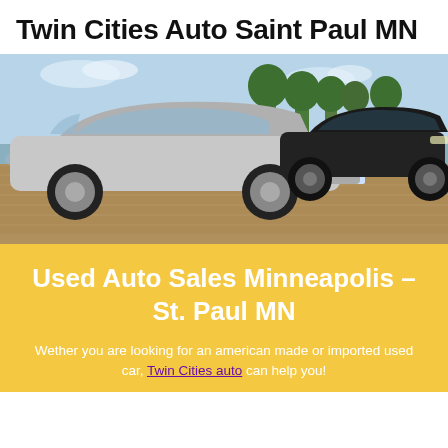Twin Cities Auto Saint Paul MN
[Figure (photo): A silver Audi sedan parked in the foreground on a brick-paved lot, with a black Mercedes sedan and additional dark cars visible behind it. Trees and sky in the background.]
Used Auto Sales Minneapolis – St. Paul MN
Wether you are looking for an american made or imported used car, Twin Cities auto can help you!